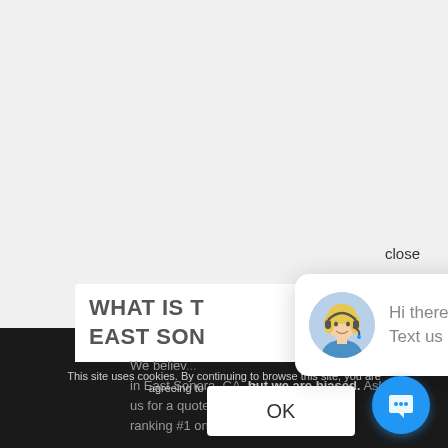[Figure (screenshot): Website screenshot showing a chat popup widget with avatar and message 'Hi there, have a question? Text us here.', a cookie consent notice with OK button, partial page heading 'WHAT IS T... EAST SON...', body text about East Sonora CA, and a blue chat button.]
close
Hi there, have a question? Text us here.
WHAT IS T EAST SON
This site uses cookies. By continuing to browse this site, you are agreeing to our use of cookies.
We believe... in East Sonora, CA, but we are biased. Ask us for a quote on your business ranking #1 on Go... Sonora, CA.
OK